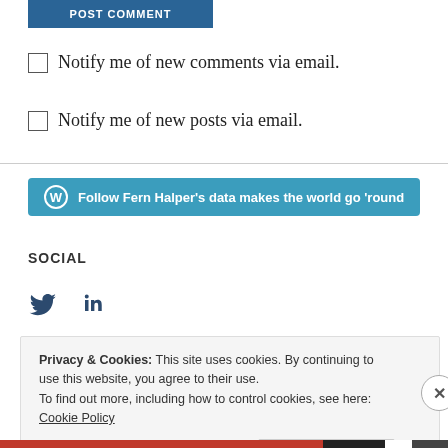[Figure (screenshot): POST COMMENT button in dark blue]
Notify me of new comments via email.
Notify me of new posts via email.
[Figure (other): Follow Fern Halper's data makes the world go 'round button with WordPress icon]
SOCIAL
[Figure (other): Twitter and LinkedIn social icons]
Privacy & Cookies: This site uses cookies. By continuing to use this website, you agree to their use. To find out more, including how to control cookies, see here: Cookie Policy
Close and accept